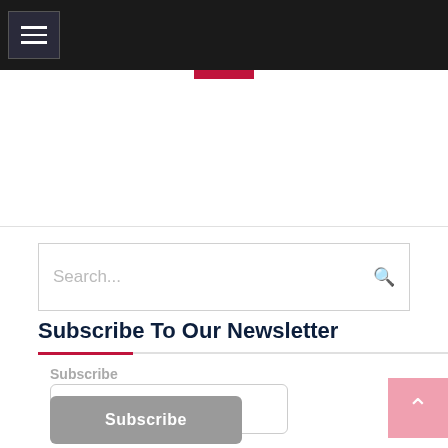Navigation bar with hamburger menu icon
[Figure (screenshot): Red accent bar below navigation]
Search...
Subscribe To Our Newsletter
Subscribe
email address
Subscribe